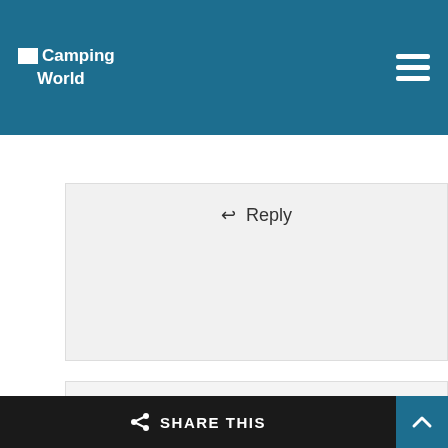Camping World
↩ Reply
[Figure (illustration): Gray avatar placeholder silhouette of a person]
Eric van mieghem
February 11, 2019 at 2:25 am
Dears
Sorry for typos or errors, english is not my
< SHARE THIS